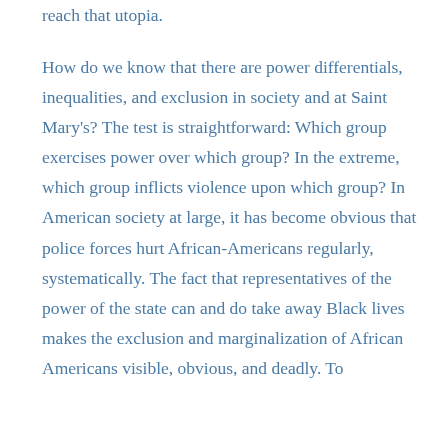reach that utopia.
How do we know that there are power differentials, inequalities, and exclusion in society and at Saint Mary's? The test is straightforward: Which group exercises power over which group? In the extreme, which group inflicts violence upon which group? In American society at large, it has become obvious that police forces hurt African-Americans regularly, systematically. The fact that representatives of the power of the state can and do take away Black lives makes the exclusion and marginalization of African Americans visible, obvious, and deadly. To